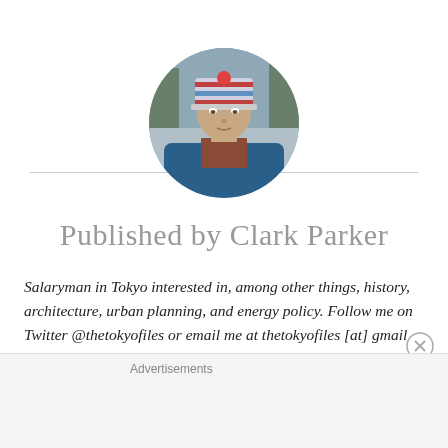[Figure (photo): Circular profile photo of Clark Parker wearing a striped winter hat and blue jacket, outdoors with trees in background]
Published by Clark Parker
Salaryman in Tokyo interested in, among other things, history, architecture, urban planning, and energy policy. Follow me on Twitter @thetokyofiles or email me at thetokyofiles [at] gmail [dot] com View all posts by Clark Parker
Advertisements